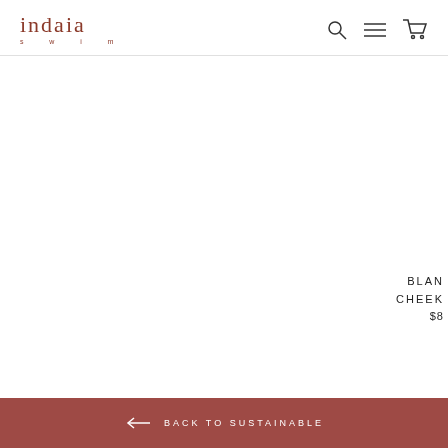indaia swim
[Figure (photo): Mostly white/blank product image area for swimwear product]
BLAN
CHEEK
$8
BACK TO SUSTAINABLE